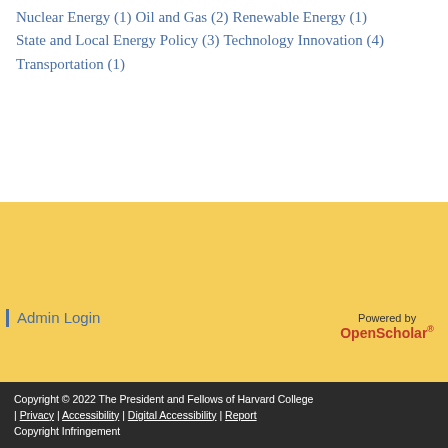Nuclear Energy (1)
Oil and Gas (2)
Renewable Energy (1)
State and Local Energy Policy (3)
Technology Innovation (4)
Transportation (1)
Admin Login
Powered by OpenScholar®
Copyright © 2022 The President and Fellows of Harvard College | Privacy | Accessibility | Digital Accessibility | Report Copyright Infringement